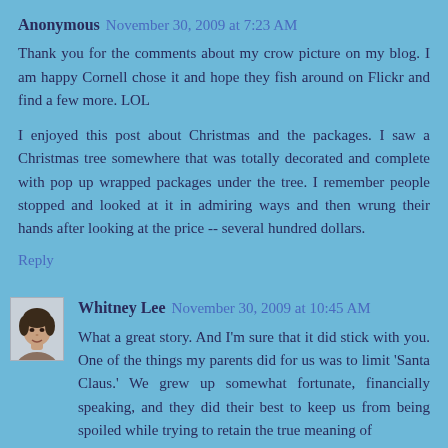Anonymous November 30, 2009 at 7:23 AM
Thank you for the comments about my crow picture on my blog. I am happy Cornell chose it and hope they fish around on Flickr and find a few more. LOL
I enjoyed this post about Christmas and the packages. I saw a Christmas tree somewhere that was totally decorated and complete with pop up wrapped packages under the tree. I remember people stopped and looked at it in admiring ways and then wrung their hands after looking at the price -- several hundred dollars.
Reply
[Figure (photo): Small avatar photo of Whitney Lee, a woman with dark hair]
Whitney Lee November 30, 2009 at 10:45 AM
What a great story. And I'm sure that it did stick with you. One of the things my parents did for us was to limit 'Santa Claus.' We grew up somewhat fortunate, financially speaking, and they did their best to keep us from being spoiled while trying to retain the true meaning of